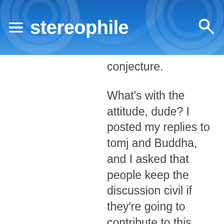stereophile
conjecture.
What's with the attitude, dude? I posted my replies to tomj and Buddha, and I asked that people keep the discussion civil if they're going to contribute to this thread. And here you come along to debate my replies to them, and you're